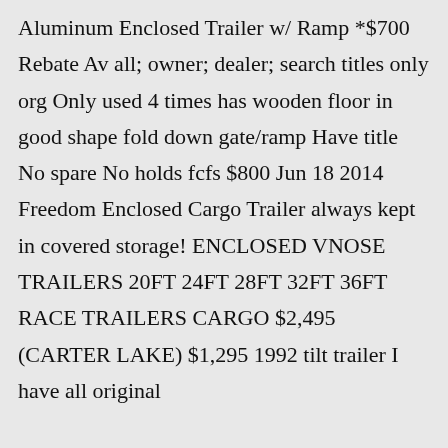Aluminum Enclosed Trailer w/ Ramp *$700 Rebate Av all; owner; dealer; search titles only org Only used 4 times has wooden floor in good shape fold down gate/ramp Have title No spare No holds fcfs $800 Jun 18 2014 Freedom Enclosed Cargo Trailer always kept in covered storage! ENCLOSED VNOSE TRAILERS 20FT 24FT 28FT 32FT 36FT RACE TRAILERS CARGO $2,495 (CARTER LAKE) $1,295 1992 tilt trailer I have all original